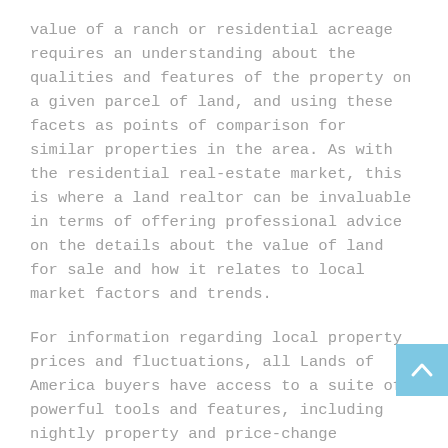value of a ranch or residential acreage requires an understanding about the qualities and features of the property on a given parcel of land, and using these facets as points of comparison for similar properties in the area. As with the residential real-estate market, this is where a land realtor can be invaluable in terms of offering professional advice on the details about the value of land for sale and how it relates to local market factors and trends.
For information regarding local property prices and fluctuations, all Lands of America buyers have access to a suite of powerful tools and features, including nightly property and price-change notifiers. Buyers can also set up customized searches and property alerts to make sure they are the first to know when new properties meet their specific criteria hit the market.